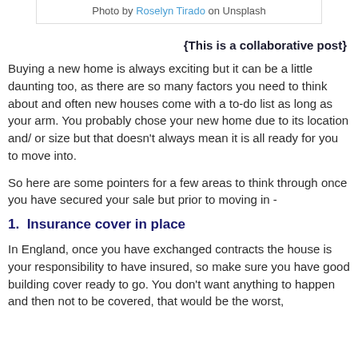Photo by Roselyn Tirado on Unsplash
{This is a collaborative post}
Buying a new home is always exciting but it can be a little daunting too, as there are so many factors you need to think about and often new houses come with a to-do list as long as your arm. You probably chose your new home due to its location and/ or size but that doesn't always mean it is all ready for you to move into.
So here are some pointers for a few areas to think through once you have secured your sale but prior to moving in -
1.  Insurance cover in place
In England, once you have exchanged contracts the house is your responsibility to have insured, so make sure you have good building cover ready to go. You don't want anything to happen and then not to be covered, that would be the worst, insurance to have without a doubt is your building...